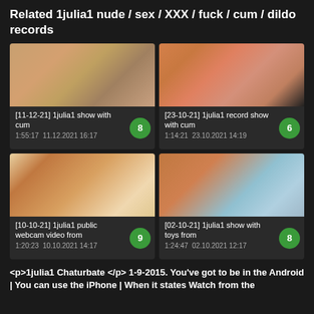Related 1julia1 nude / sex / XXX / fuck / cum / dildo records
[Figure (screenshot): Video thumbnail top-left: close-up body shot]
[11-12-21] 1julia1 show with cum
1:55:17  11.12.2021 16:17
[Figure (screenshot): Video thumbnail top-right: body shot with orange fabric]
[23-10-21] 1julia1 record show with cum
1:14:21  23.10.2021 14:19
[Figure (screenshot): Video thumbnail bottom-left: blonde woman lying down]
[10-10-21] 1julia1 public webcam video from
1:20:23  10.10.2021 14:17
[Figure (screenshot): Video thumbnail bottom-right: person with blue top and orange curtain]
[02-10-21] 1julia1 show with toys from
1:24:47  02.10.2021 12:17
<p>1julia1 Chaturbate </p> 1-9-2015. You've got to be in the Android | You can use the iPhone | When it states Watch from the